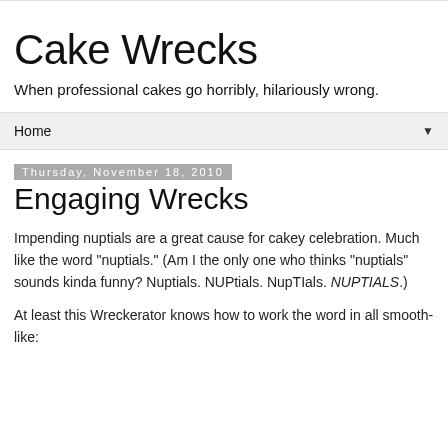Cake Wrecks
When professional cakes go horribly, hilariously wrong.
Home
Thursday, November 18, 2010
Engaging Wrecks
Impending nuptials are a great cause for cakey celebration. Much like the word "nuptials." (Am I the only one who thinks "nuptials" sounds kinda funny? Nuptials. NUPtials. NupTIals. NUPTIALS.)
At least this Wreckerator knows how to work the word in all smooth-like: